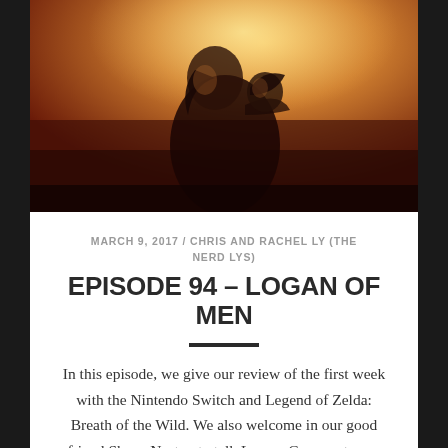[Figure (photo): Movie promotional image showing two figures in a warm orange/golden light — a person carrying another on their back against a hazy bright background, consistent with the Logan (2017) film.]
MARCH 9, 2017 / CHRIS AND RACHEL LY (THE NERD LYS)
EPISODE 94 – LOGAN OF MEN
In this episode, we give our review of the first week with the Nintendo Switch and Legend of Zelda: Breath of the Wild. We also welcome in our good friend Shane Norton to talk Logan. Come get your snikt snikt on with us!